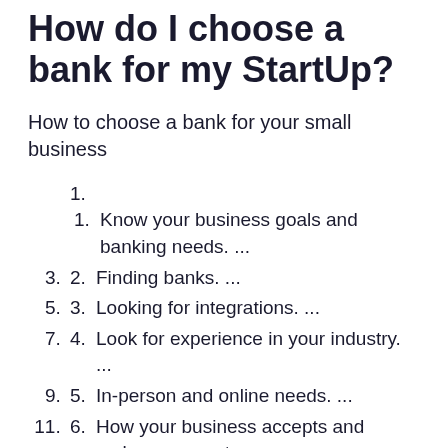How do I choose a bank for my StartUp?
How to choose a bank for your small business
Know your business goals and banking needs. ...
Finding banks. ...
Looking for integrations. ...
Look for experience in your industry. ...
In-person and online needs. ...
How your business accepts and makes payments. ...
Loans. ...
Compare fee structures.
What is the best bank for